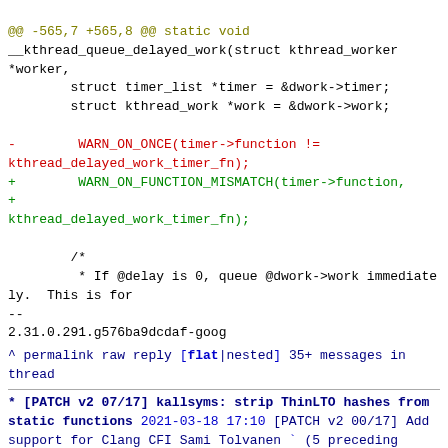@@ -565,7 +565,8 @@ static void __kthread_queue_delayed_work(struct kthread_worker *worker,
        struct timer_list *timer = &dwork->timer;
        struct kthread_work *work = &dwork->work;

-        WARN_ON_ONCE(timer->function !=
kthread_delayed_work_timer_fn);
+        WARN_ON_FUNCTION_MISMATCH(timer->function,
+
kthread_delayed_work_timer_fn);

        /*
         * If @delay is 0, queue @dwork->work immediately.  This is for
--
2.31.0.291.g576ba9dcdaf-goog
^ permalink raw reply   [flat|nested] 35+ messages in thread
* [PATCH v2 07/17] kallsyms: strip ThinLTO hashes from static functions
  2021-03-18 17:10 [PATCH v2 00/17] Add support for Clang CFI Sami Tolvanen
               ` (5 preceding siblings ...)
  2021-03-18 17:11 ` [PATCH v2 06/17] kthread: " Sami Tolvanen
@ 2021-03-18 17:11 ` Sami Tolvanen